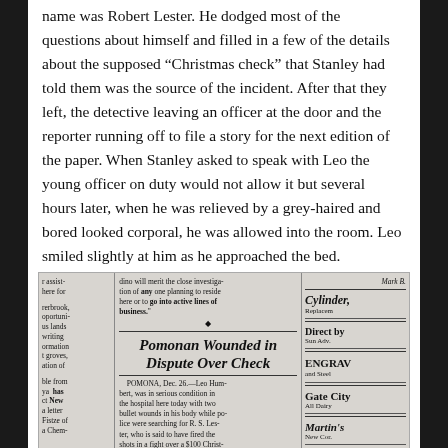name was Robert Lester.  He dodged most of the questions about himself and filled in a few of the details about the supposed “Christmas check” that Stanley had told them was the source of the incident.   After that they left, the detective leaving an officer at the door and the reporter running off to file a story for the next edition of the paper.  When Stanley asked to speak with Leo the young officer on duty would not allow it but several hours later, when he was relieved by a grey-haired and bored looked corporal, he was allowed into the room.   Leo smiled slightly at him as he approached the bed.
[Figure (photo): Scanned newspaper clipping showing three columns. Left column contains partial text about assistance, Overbrook, opportunities, lands, writing, information, groves, nation, from, has, New, letter, Fistze, Chem. Middle column has headline 'Pomonan Wounded in Dispute Over Check' with article text: POMONA, Dec. 26.—Leo Humbert, was in serious condition in the hospital here today with two bullet wounds in his body while police were searching for R. S. Lester, who is said to have fired the shots in a fight over a $100 Christ- (cut off). Right column shows partial ads: Mark H., Cylinder, Replacem, Direct by, Sun Adve, ENGRAV, and Steel, Gate City, All Dairy, Martin's, New Cor.]